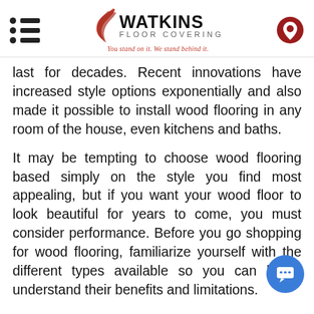Watkins Floor Covering — You stand on it. We stand behind it.
last for decades. Recent innovations have increased style options exponentially and also made it possible to install wood flooring in any room of the house, even kitchens and baths.
It may be tempting to choose wood flooring based simply on the style you find most appealing, but if you want your wood floor to look beautiful for years to come, you must consider performance. Before you go shopping for wood flooring, familiarize yourself with the different types available so you can better understand their benefits and limitations.